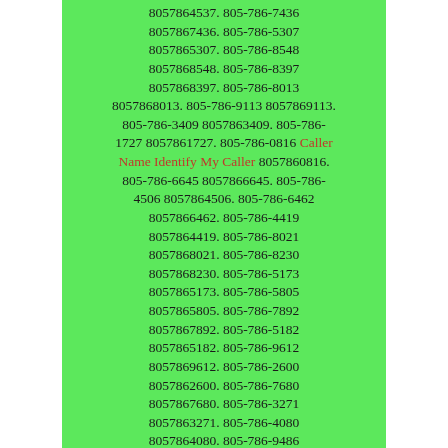8057864537. 805-786-7436 8057867436. 805-786-5307 8057865307. 805-786-8548 8057868548. 805-786-8397 8057868397. 805-786-8013 8057868013. 805-786-9113 8057869113. 805-786-3409 8057863409. 805-786-1727 8057861727. 805-786-0816 Caller Name Identify My Caller 8057860816. 805-786-6645 8057866645. 805-786-4506 8057864506. 805-786-6462 8057866462. 805-786-4419 8057864419. 805-786-8021 8057868021. 805-786-8230 8057868230. 805-786-5173 8057865173. 805-786-5805 8057865805. 805-786-7892 8057867892. 805-786-5182 8057865182. 805-786-9612 8057869612. 805-786-2600 8057862600. 805-786-7680 8057867680. 805-786-3271 8057863271. 805-786-4080 8057864080. 805-786-9486 8057869486. 805-786-1248